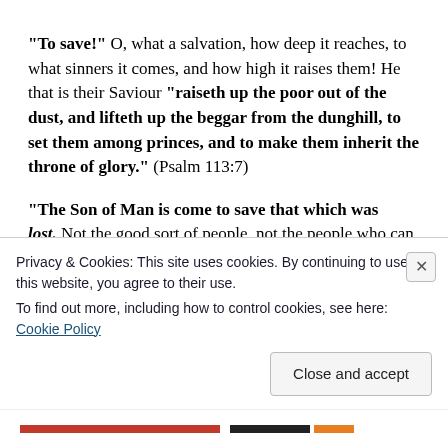“To save!” O, what a salvation, how deep it reaches, to what sinners it comes, and how high it raises them! He that is their Saviour “raiseth up the poor out of the dust, and lifteth up the beggar from the dunghill, to set them among princes, and to make them inherit the throne of glory.” (Psalm 113:7)
“The Son of Man is come to save that which was lost.” Not the good sort of people, not the people who can
Privacy & Cookies: This site uses cookies. By continuing to use this website, you agree to their use.
To find out more, including how to control cookies, see here: Cookie Policy